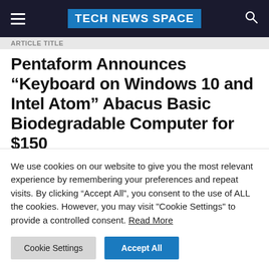TECH NEWS SPACE
ARTICLE TITLE
Pentaform Announces “Keyboard on Windows 10 and Intel Atom” Abacus Basic Biodegradable Computer for $150
2 months ago  Dylan Harris  Add Comment
We use cookies on our website to give you the most relevant experience by remembering your preferences and repeat visits. By clicking “Accept All”, you consent to the use of ALL the cookies. However, you may visit "Cookie Settings" to provide a controlled consent. Read More